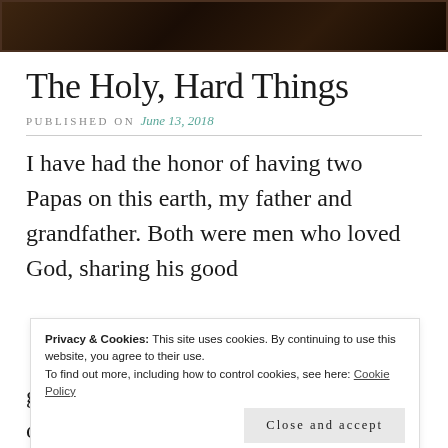[Figure (photo): Dark, moody photograph with deep brown and black tones, appears to be a landscape or portrait with dark background]
The Holy, Hard Things
PUBLISHED ON June 13, 2018
I have had the honor of having two Papas on this earth, my father and grandfather. Both were men who loved God, sharing his good
Privacy & Cookies: This site uses cookies. By continuing to use this website, you agree to their use.
To find out more, including how to control cookies, see here: Cookie Policy
Close and accept
grandfather from the pulpit. The pages of